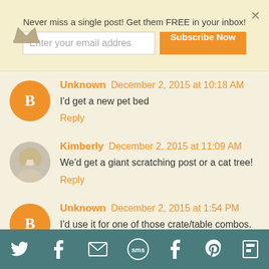Never miss a single post! Get them FREE in your inbox!
Enter your email addres
Subscribe Now
Unknown   December 2, 2015 at 10:18 AM
I'd get a new pet bed
Reply
Kimberly   December 2, 2015 at 11:09 AM
We'd get a giant scratching post or a cat tree!
Reply
Unknown   December 2, 2015 at 1:54 PM
I'd use it for one of those crate/table combos. the crate gets used as a table most of the time anyway!
Reply
Twitter Facebook Email SMS Tumblr Pinterest Flipboard